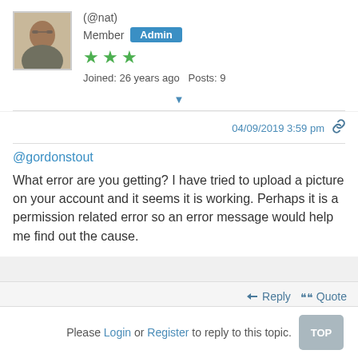[Figure (photo): User avatar photo of @nat, a person wearing glasses]
(@nat)
Member  Admin
[Figure (other): Three green stars representing user rating]
Joined: 26 years ago   Posts: 9
04/09/2019 3:59 pm
@gordonstout
What error are you getting? I have tried to upload a picture on your account and it seems it is working. Perhaps it is a permission related error so an error message would help me find out the cause.
Reply   Quote
Please Login or Register to reply to this topic.